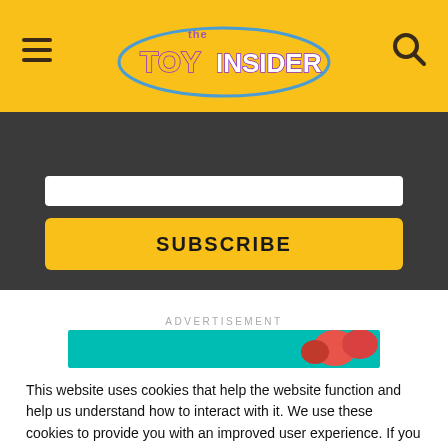The Toy Insider
[Figure (screenshot): Subscribe email input bar (white rectangle)]
[Figure (screenshot): SUBSCRIBE yellow button]
ADVERTISEMENT
[Figure (photo): Advertisement banner with teal background and heart-shaped candy imagery]
This website uses cookies that help the website function and help us understand how to interact with it. We use these cookies to provide you with an improved user experience. If you continue to visit our website, we assume you are OK with it. Read More
[Figure (screenshot): Got It! yellow button]